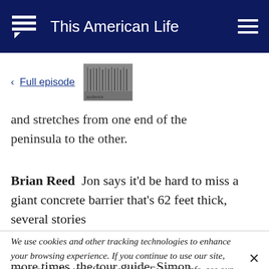This American Life
< Full episode
and stretches from one end of the peninsula to the other.
Brian Reed Jon says it'd be hard to miss a giant concrete barrier that's 62 feet thick, several stories
We use cookies and other tracking technologies to enhance your browsing experience. If you continue to use our site, you agree to the use of such cookies. For more info, see our privacy policy.
more times, the tour guide, Simon